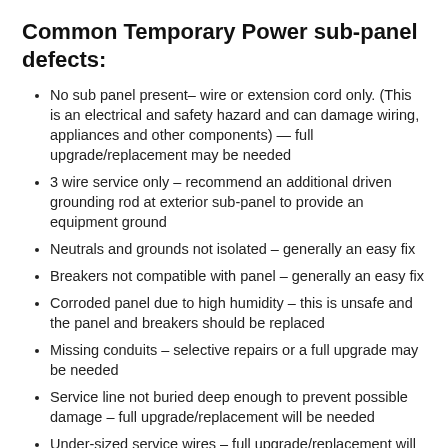Common Temporary Power sub-panel defects:
No sub panel present– wire or extension cord only. (This is an electrical and safety hazard and can damage wiring, appliances and other components) — full upgrade/replacement may be needed
3 wire service only – recommend an additional driven grounding rod at exterior sub-panel to provide an equipment ground
Neutrals and grounds not isolated – generally an easy fix
Breakers not compatible with panel – generally an easy fix
Corroded panel due to high humidity – this is unsafe and the panel and breakers should be replaced
Missing conduits – selective repairs or a full upgrade may be needed
Service line not buried deep enough to prevent possible damage – full upgrade/replacement will be needed
Under-sized service wires – full upgrade/replacement will be needed